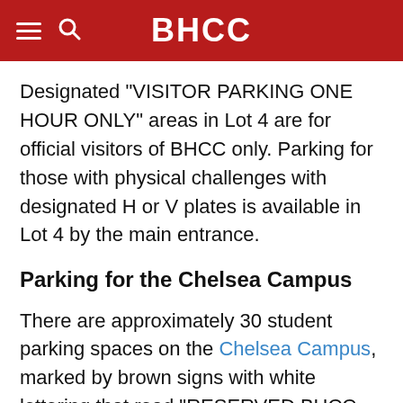BHCC
Designated “VISITOR PARKING ONE HOUR ONLY” areas in Lot 4 are for official visitors of BHCC only. Parking for those with physical challenges with designated H or V plates is available in Lot 4 by the main entrance.
Parking for the Chelsea Campus
There are approximately 30 student parking spaces on the Chelsea Campus, marked by brown signs with white lettering that read “RESERVED BHCC Student/Sticker PARKING ONLY” Parking in these spaces requires a valid